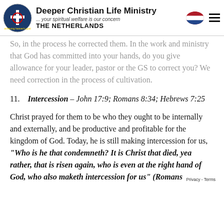Deeper Christian Life Ministry ... your spiritual welfare is our concern THE NETHERLANDS
So, in the process he corrected them. In the work and ministry that God has committed into your hands, do you give allowance for your leader, pastor or the GS to correct you? We need correction in the process of cultivation.
11. Intercession – John 17:9; Romans 8:34; Hebrews 7:25
Christ prayed for them to be who they ought to be internally and externally, and be productive and profitable for the kingdom of God. Today, he is still making intercession for us, "Who is he that condemneth? It is Christ that died, yea rather, that is risen again, who is even at the right hand of God, who also maketh intercession for us" (Romans